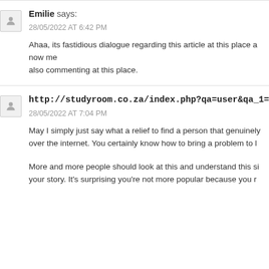Emilie says:
28/05/2022 AT 6:42 PM
Ahaa, its fastidious dialogue regarding this article at this place a now me also commenting at this place.
http://studyroom.co.za/index.php?qa=user&qa_1=beggarcoo
28/05/2022 AT 7:04 PM
May I simply just say what a relief to find a person that genuinely over the internet. You certainly know how to bring a problem to l
More and more people should look at this and understand this si your story. It's surprising you're not more popular because you r